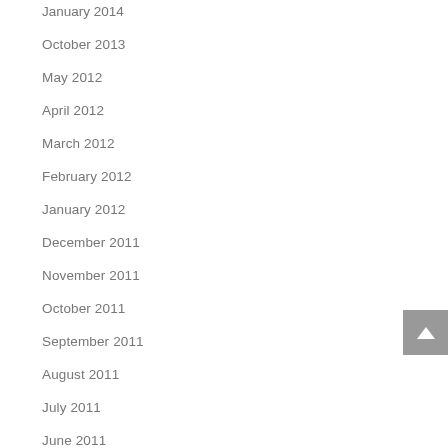January 2014
October 2013
May 2012
April 2012
March 2012
February 2012
January 2012
December 2011
November 2011
October 2011
September 2011
August 2011
July 2011
June 2011